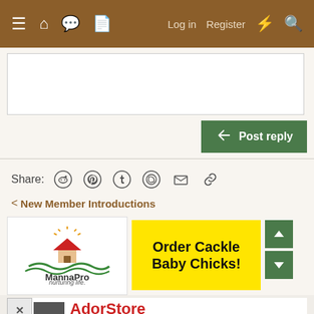≡  🏠  💬  📄    Log in   Register  ⚡  🔍
[Figure (screenshot): Text reply input area (empty white textarea)]
[Figure (screenshot): Post reply green button with reply arrow icon]
Share:  reddit  pinterest  tumblr  whatsapp  email  link
< New Member Introductions
[Figure (logo): MannaPro logo with house, red roof, sun rays, green waves, text MannaPro nurturing life]
[Figure (infographic): Yellow banner: Order Cackle Baby Chicks!]
[Figure (screenshot): AdorStore advertisement with red AdorStore text and Automatic subtitle, close X button]
[Figure (screenshot): Bottom banner ad: Up To $75 Off on Goodyear Tires at Virginia Tire & Auto with green circle logo and blue diamond arrow]